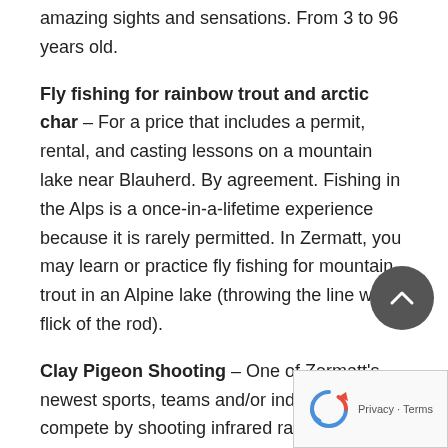amazing sights and sensations. From 3 to 96 years old.
Fly fishing for rainbow trout and arctic char – For a price that includes a permit, rental, and casting lessons on a mountain lake near Blauherd. By agreement. Fishing in the Alps is a once-in-a-lifetime experience because it is rarely permitted. In Zermatt, you may learn or practice fly fishing for mountain trout in an Alpine lake (throwing the line with a flick of the rod).
Clay Pigeon Shooting – One of Zermatt's newest sports, teams and/or individuals compete by shooting infrared rays at reusable clays with a genuine shotgun that has been deactivated and modified. The clays have receptors and are burned from high-quality traps. The weapons contain a microchip, are radio-linked to the scoreboard, and tiny lights on the barrel